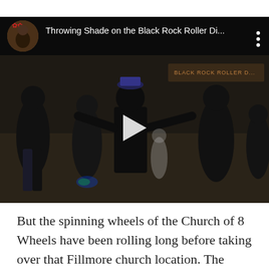[Figure (screenshot): Embedded YouTube video player showing 'Throwing Shade on the Black Rock Roller Di...' with a dark scene of people dancing/skating outdoors at night, with a play button overlay and video header showing channel avatar and title.]
But the spinning wheels of the Church of 8 Wheels have been rolling long before taking over that Fillmore church location. The